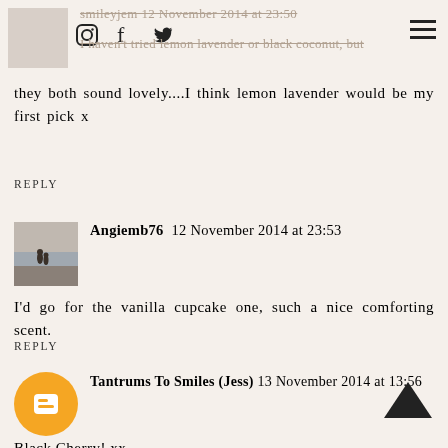smileyjem 12 November 2014 at 23:50 [strikethrough] I haven't tried lemon lavender or black coconut but [strikethrough]
they both sound lovely....I think lemon lavender would be my first pick x
REPLY
Angiemb76 12 November 2014 at 23:53
I'd go for the vanilla cupcake one, such a nice comforting scent.
REPLY
Tantrums To Smiles (Jess) 13 November 2014 at 13:56
Black Cherry! xx
REPLY